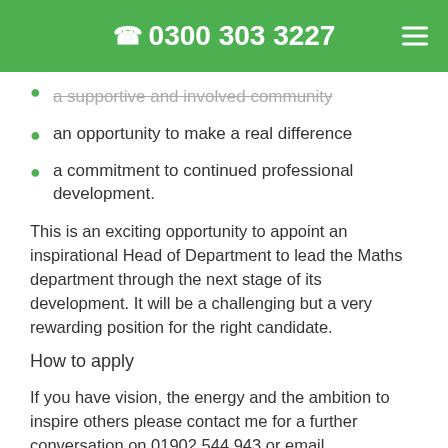0300 303 3227
a supportive and involved community
an opportunity to make a real difference
a commitment to continued professional development.
This is an exciting opportunity to appoint an inspirational Head of Department to lead the Maths department through the next stage of its development. It will be a challenging but a very rewarding position for the right candidate.
How to apply
If you have vision, the energy and the ambition to inspire others please contact me for a further conversation on 01902 544 943 or email